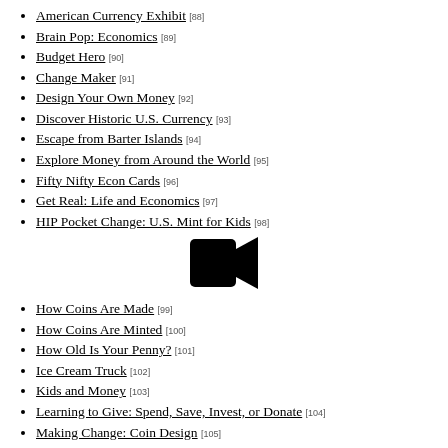American Currency Exhibit [88]
Brain Pop: Economics [89]
Budget Hero [90]
Change Maker [91]
Design Your Own Money [92]
Discover Historic U.S. Currency [93]
Escape from Barter Islands [94]
Explore Money from Around the World [95]
Fifty Nifty Econ Cards [96]
Get Real: Life and Economics [97]
HIP Pocket Change: U.S. Mint for Kids [98]
[Figure (illustration): Video camera icon (black silhouette)]
How Coins Are Made [99]
How Coins Are Minted [100]
How Old Is Your Penny? [101]
Ice Cream Truck [102]
Kids and Money [103]
Learning to Give: Spend, Save, Invest, or Donate [104]
Making Change: Coin Design [105]